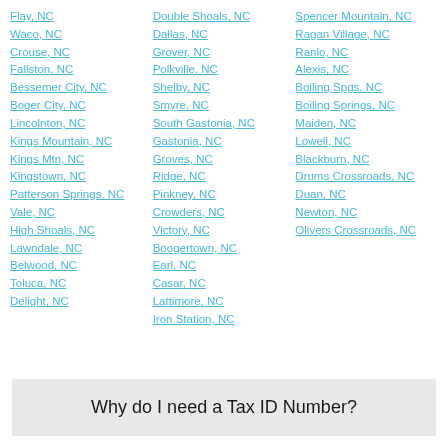Flay, NC
Waco, NC
Crouse, NC
Fallston, NC
Bessemer City, NC
Boger City, NC
Lincolnton, NC
Kings Mountain, NC
Kings Mtn, NC
Kingstown, NC
Patterson Springs, NC
Vale, NC
High Shoals, NC
Lawndale, NC
Belwood, NC
Toluca, NC
Delight, NC
Double Shoals, NC
Dallas, NC
Grover, NC
Polkville, NC
Shelby, NC
Smyre, NC
South Gastonia, NC
Gastonia, NC
Groves, NC
Ridge, NC
Pinkney, NC
Crowders, NC
Victory, NC
Boogertown, NC
Earl, NC
Casar, NC
Lattimore, NC
Iron Station, NC
Spencer Mountain, NC
Ragan Village, NC
Ranlo, NC
Alexis, NC
Boiling Spgs, NC
Boiling Springs, NC
Maiden, NC
Lowell, NC
Blackburn, NC
Drums Crossroads, NC
Duan, NC
Newton, NC
Olivers Crossroads, NC
Why do I need a Tax ID Number?